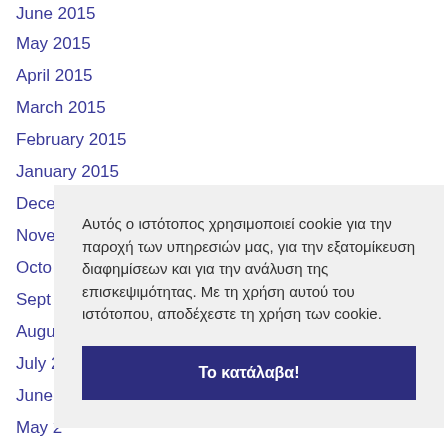June 2015
May 2015
April 2015
March 2015
February 2015
January 2015
Dece…
Nove…
Octo…
Sept…
Augu…
July 2…
June…
May 2…
April 2014
Αυτός ο ιστότοπος χρησιμοποιεί cookie για την παροχή των υπηρεσιών μας, για την εξατομίκευση διαφημίσεων και για την ανάλυση της επισκεψιμότητας. Με τη χρήση αυτού του ιστότοπου, αποδέχεστε τη χρήση των cookie.
Το κατάλαβα!